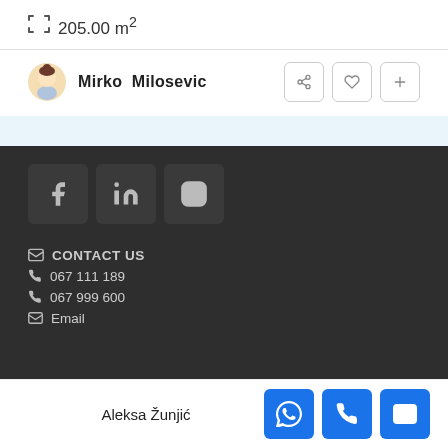205.00 m²
Mirko Milosevic
[Figure (infographic): Social media icons: Facebook, LinkedIn, Instagram]
CONTACT US
067 111 189
067 999 600
Email
Aleksa Žunjić
[Figure (infographic): Action buttons: WhatsApp, phone, email]